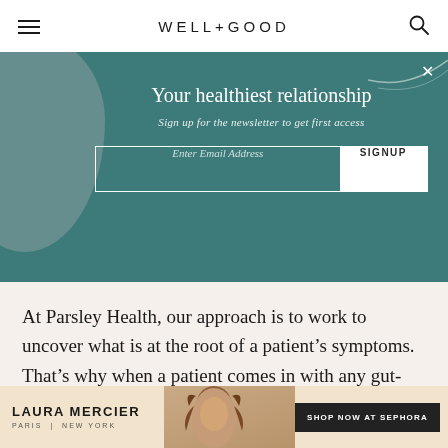WELL+GOOD
[Figure (infographic): Newsletter signup banner with teal background, decorative circle and swirl, headline 'Your healthiest relationship', subtitle 'Sign up for the newsletter to get first access', email input field and SIGNUP button]
At Parsley Health, our approach is to work to uncover what is at the root of a patient’s symptoms. That’s why when a patient comes in with any gut-related symptoms, we work with them to try and find out why.
[Figure (infographic): Laura Mercier advertisement banner with beige background, model photo, brand name LAURA MERCIER PARIS | NEW YORK, and SHOP NOW AT SEPHORA call-to-action button]